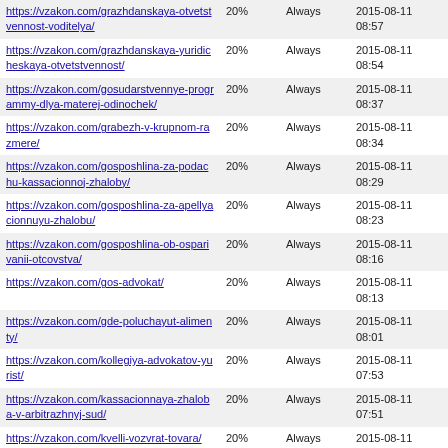| https://vzakon.com/grazhdanskaya-otvetstvennost-voditelya/ | 20% | Always | 2015-08-11 08:57 |
| https://vzakon.com/grazhdanskaya-yuridicheskaya-otvetstvennost/ | 20% | Always | 2015-08-11 08:54 |
| https://vzakon.com/gosudarstvennye-programmy-dlya-materej-odinochek/ | 20% | Always | 2015-08-11 08:37 |
| https://vzakon.com/grabezh-v-krupnom-razmere/ | 20% | Always | 2015-08-11 08:34 |
| https://vzakon.com/gosposhlina-za-podachu-kassacionnoj-zhaloby/ | 20% | Always | 2015-08-11 08:29 |
| https://vzakon.com/gosposhlina-za-apellyacionnuyu-zhalobu/ | 20% | Always | 2015-08-11 08:23 |
| https://vzakon.com/gosposhlina-ob-osparivanii-otcovstva/ | 20% | Always | 2015-08-11 08:16 |
| https://vzakon.com/gos-advokat/ | 20% | Always | 2015-08-11 08:13 |
| https://vzakon.com/gde-poluchayut-alimenty/ | 20% | Always | 2015-08-11 08:01 |
| https://vzakon.com/kollegiya-advokatov-yurist/ | 20% | Always | 2015-08-11 07:53 |
| https://vzakon.com/kassacionnaya-zhaloba-v-arbitrazhnyj-sud/ | 20% | Always | 2015-08-11 07:51 |
| https://vzakon.com/kvelli-vozvrat-tovara/ | 20% | Always | 2015-08-11 07:46 |
| https://vzakon.com/kompensaciya-otpuska-pri-uvolnenii-nalogooblozhenie/ | 20% | Always | 2015-08-11 07:37 |
| https://vzakon.com/kleveta-i-oskorblenie/ | 20% | Always | 2015-08-11 07:33 |
| https://vzakon.com/kvalificirovannye-vidy-moshennichestva/ | 20% | Always | 2015-08-11 07:21 |
| https://vzakon.com/kassacionnaya-zhaloba-po-razdelu-imushhestva/ | 20% | Always | 2015-08-11 07:14 |